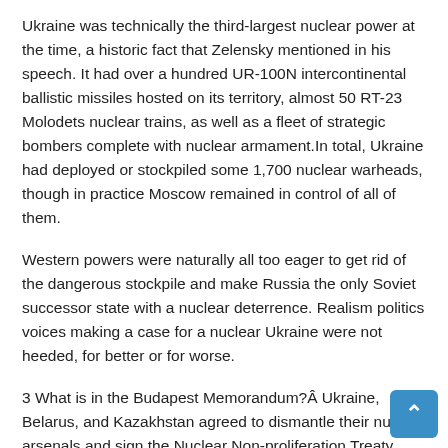Ukraine was technically the third-largest nuclear power at the time, a historic fact that Zelensky mentioned in his speech. It had over a hundred UR-100N intercontinental ballistic missiles hosted on its territory, almost 50 RT-23 Molodets nuclear trains, as well as a fleet of strategic bombers complete with nuclear armament.In total, Ukraine had deployed or stockpiled some 1,700 nuclear warheads, though in practice Moscow remained in control of all of them.
Western powers were naturally all too eager to get rid of the dangerous stockpile and make Russia the only Soviet successor state with a nuclear deterrence. Realism politics voices making a case for a nuclear Ukraine were not heeded, for better or for worse.
3 What is in the Budapest Memorandum?Â Ukraine, Belarus, and Kazakhstan agreed to dismantle their nuclear arsenals and sign the Nuclear Non-proliferation Treaty (NPT), which allows only five nations in the world to possess nuclear weapons: China, France, Russia, the UK, and the US. So-called Budapest Memorandum on security assurances – three identical documents with different names of the countries – were signed by the disarming countries as well as the US, the UK, and Russia.